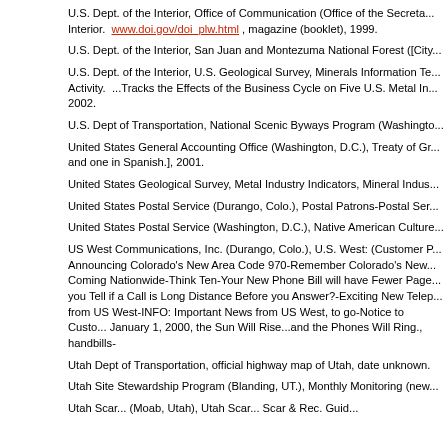U.S. Dept. of the Interior, Office of Communication (Office of the Secretary). Interior. www.doi.gov/doi_plw.html , magazine (booklet), 1999.
U.S. Dept. of the Interior, San Juan and Montezuma National Forest ([City:
U.S. Dept. of the Interior, U.S. Geological Survey, Minerals Information Te... Activity. ...Tracks the Effects of the Business Cycle on Five U.S. Metal In... 2002.
U.S. Dept of Transportation, National Scenic Byways Program (Washingto...
United States General Accounting Office (Washington, D.C.), Treaty of Gr... and one in Spanish.], 2001.
United States Geological Survey, Metal Industry Indicators, Mineral Indus...
United States Postal Service (Durango, Colo.), Postal Patrons-Postal Ser...
United States Postal Service (Washington, D.C.), Native American Culture...
US West Communications, Inc. (Durango, Colo.), U.S. West: (Customer P... Announcing Colorado's New Area Code 970-Remember Colorado's New... Coming Nationwide-Think Ten-Your New Phone Bill will have Fewer Page... you Tell if a Call is Long Distance Before you Answer?-Exciting New Telep... from US West-INFO: Important News from US West, to go-Notice to Custo... January 1, 2000, the Sun Will Rise...and the Phones Will Ring., handbills-
Utah Dept of Transportation, official highway map of Utah, date unknown.
Utah Site Stewardship Program (Blanding, UT.), Monthly Monitoring (new...
Utah Scar... (Moab, Utah), Utah Scar... Scar & Rec. Guid...